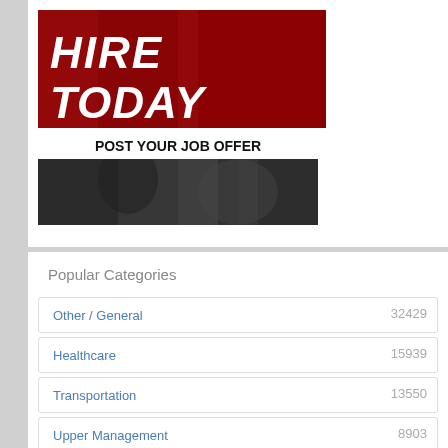[Figure (illustration): Job advertisement banner with red background showing 'HIRE TODAY' in large white bold italic text]
POST YOUR JOB OFFER
[Figure (photo): Black and white photo of a person in a suit]
Popular Categories
| Category | Count |
| --- | --- |
| Other / General | 32429 |
| Healthcare | 15939 |
| Transportation | 13550 |
| Upper Management | 8903 |
| Mechanical / Maintenance | 5290 |
| Logistics / Warehouse | 4043 |
| Sales | 4037 |